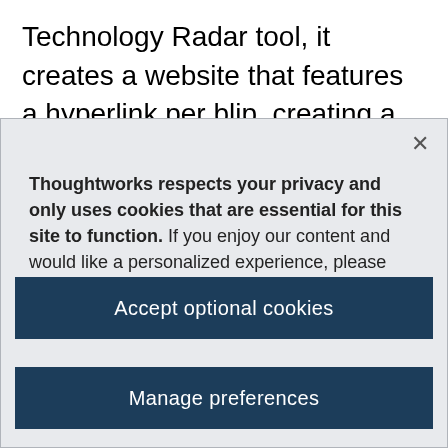Technology Radar tool, it creates a website that features a hyperlink per blip, creating a great doorway to more information about this technology or technique. Because each blip is a link, we have
Thoughtworks respects your privacy and only uses cookies that are essential for this site to function. If you enjoy our content and would like a personalized experience, please “Accept optional cookies”. You can manage or revoke consent at any time. Privacy policy
Accept optional cookies
Manage preferences